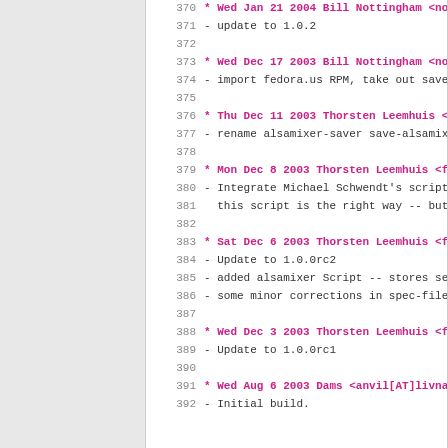370 (truncated) * Wed Jan 21 2004 Bill Nottingham <nottin...
371 - update to 1.0.2
372 (empty)
373 * Wed Dec 17 2003 Bill Nottingham <nottin...
374 - import fedora.us RPM, take out save-als...
375 (empty)
376 * Thu Dec 11 2003 Thorsten Leemhuis <fedo...
377 - rename alsamixer-saver save-alsamixer
378 (empty)
379 * Mon Dec  8 2003 Thorsten Leemhuis <fedo...
380 - Integrate Michael Schwendt's script als...
381   this script is the right way -- but min...
382 (empty)
383 * Sat Dec  6 2003 Thorsten Leemhuis <fedo...
384 - Update to 1.0.0rc2
385 - added alsamixer Script -- stores settin...
386 - some minor corrections in spec-file sty...
387 (empty)
388 * Wed Dec  3 2003 Thorsten Leemhuis <fedo...
389 - Update to 1.0.0rc1
390 (empty)
391 * Wed Aug  6 2003 Dams <anvil[AT]livna.or...
392 - Initial build.